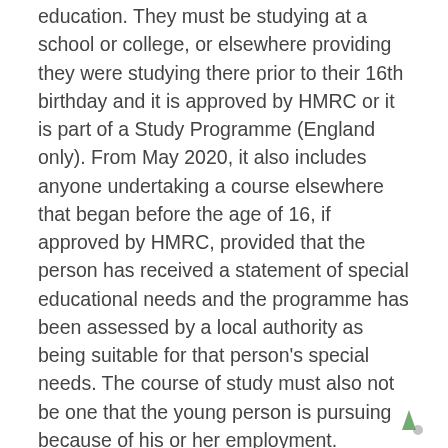education. They must be studying at a school or college, or elsewhere providing they were studying there prior to their 16th birthday and it is approved by HMRC or it is part of a Study Programme (England only). From May 2020, it also includes anyone undertaking a course elsewhere that began before the age of 16, if approved by HMRC, provided that the person has received a statement of special educational needs and the programme has been assessed by a local authority as being suitable for that person's special needs. The course of study must also not be one that the young person is pursuing because of his or her employment.
Full-time study means on average not less than 12 hours a week spent during term-time in